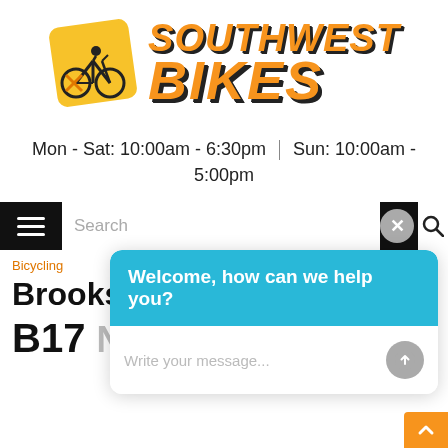[Figure (logo): Southwest Bikes logo with orange cyclist icon on yellow background square and bold orange italic text reading SOUTHWEST BIKES]
Mon - Sat: 10:00am - 6:30pm | Sun: 10:00am - 5:00pm
[Figure (screenshot): Navigation bar with hamburger menu, search box, close button, and search icon]
Bicycling ... Brooks
Brooks B17 Narrow
[Figure (screenshot): Chat overlay popup: header says 'Welcome, how can we help you?' in light blue, body has placeholder 'Write your message...' and send arrow button]